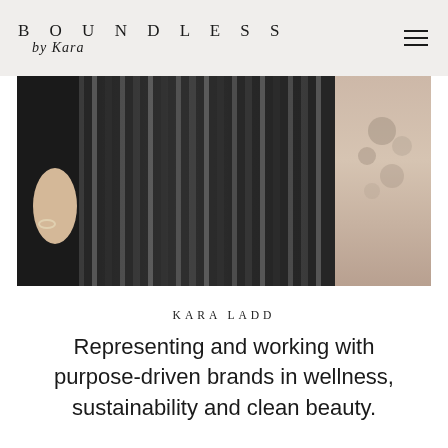BOUNDLESS by Kara
[Figure (photo): Close-up photo of a person wearing a black pleated metallic skirt with a dark blazer, holding the skirt fabric, with a beige/nude decorative surface visible on the right side of the image.]
KARA LADD
Representing and working with purpose-driven brands in wellness, sustainability and clean beauty.